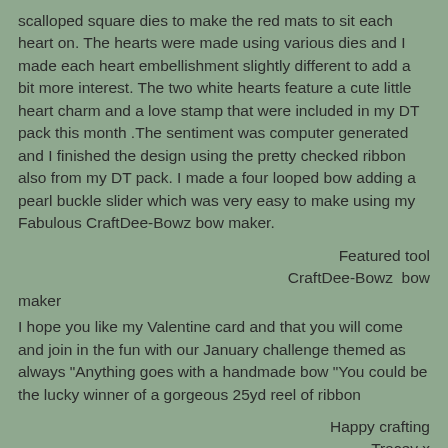scalloped square dies to make the red mats to sit each heart on. The hearts were made using various dies and I made each heart embellishment slightly different to add a bit more interest. The two white hearts feature a cute little heart charm and a love stamp that were included in my DT pack this month .The sentiment was computer generated and I finished the design using the pretty checked ribbon also from my DT pack. I made a four looped bow adding a pearl buckle slider which was very easy to make using my Fabulous CraftDee-Bowz bow maker.
Featured tool
CraftDee-Bowz bow maker
I hope you like my Valentine card and that you will come and join in the fun with our January challenge themed as always "Anything goes with a handmade bow "You could be the lucky winner of a gorgeous 25yd reel of ribbon
Happy crafting
Tracey x